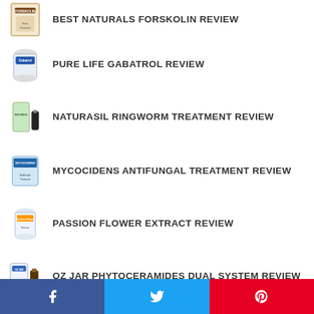BEST NATURALS FORSKOLIN REVIEW
PURE LIFE GABATROL REVIEW
NATURASIL RINGWORM TREATMENT REVIEW
MYCOCIDENS ANTIFUNGAL TREATMENT REVIEW
PASSION FLOWER EXTRACT REVIEW
OZ JAR PHYTOCERAMIDES DUAL SYSTEM REVIEW